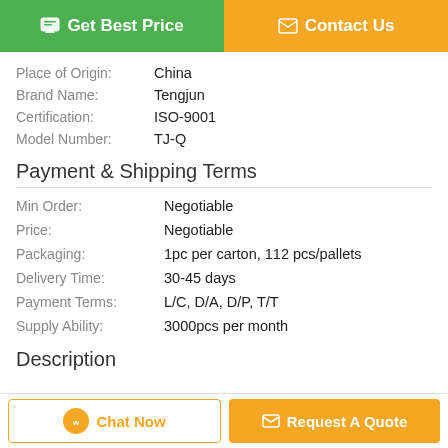[Figure (other): Two action buttons at top: green 'Get Best Price' and orange 'Contact Us']
| Field | Value |
| --- | --- |
| Place of Origin: | China |
| Brand Name: | Tengjun |
| Certification: | ISO-9001 |
| Model Number: | TJ-Q |
Payment & Shipping Terms
| Field | Value |
| --- | --- |
| Min Order: | Negotiable |
| Price: | Negotiable |
| Packaging: | 1pc per carton, 112 pcs/pallets |
| Delivery Time: | 30-45 days |
| Payment Terms: | L/C, D/A, D/P, T/T |
| Supply Ability: | 3000pcs per month |
Description
[Figure (other): Bottom action buttons: 'Chat Now' (outlined orange) and 'Request A Quote' (filled orange)]